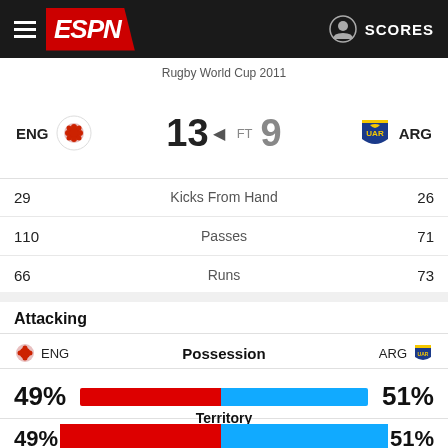ESPN - Rugby World Cup 2011 - SCORES
Rugby World Cup 2011
| ENG | Score | FT | Score | ARG |
| --- | --- | --- | --- | --- |
| ENG | 13 | FT | 9 | ARG |
| ENG | Stat | ARG |
| --- | --- | --- |
| 29 | Kicks From Hand | 26 |
| 110 | Passes | 71 |
| 66 | Runs | 73 |
Attacking
ENG  Possession  ARG
[Figure (bar-chart): Possession]
Territory
[Figure (bar-chart): Territory]